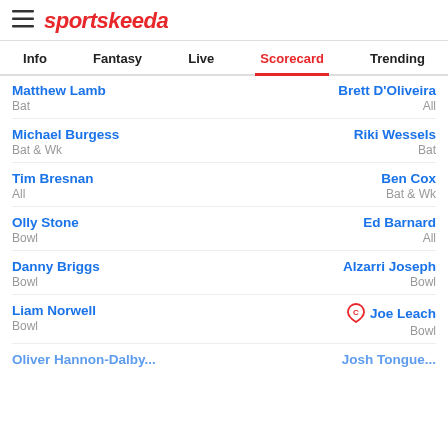sportskeeda
Info | Fantasy | Live | Scorecard | Trending
Matthew Lamb | Bat | Brett D'Oliveira | All
Michael Burgess | Bat & Wk | Riki Wessels | Bat
Tim Bresnan | All | Ben Cox | Bat & Wk
Olly Stone | Bowl | Ed Barnard | All
Danny Briggs | Bowl | Alzarri Joseph | Bowl
Liam Norwell | Bowl | (C) Joe Leach | Bowl
Oliver Hannon-Dalby... | Josh Tongue...